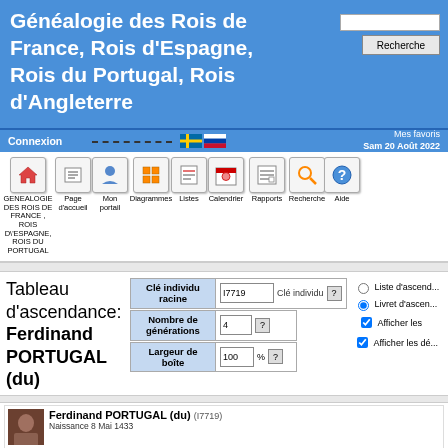Généalogie des Rois de France, Rois d'Espagne, Rois du Portugal, Rois d'Angleterre
Connexion  Mes favoris Sam 20 Août 2022
[Figure (screenshot): Toolbar with navigation icons: GENEALOGIE DES ROIS DE FRANCE, ROIS D'ESPAGNE, ROIS DU PORTUGAL, Page d'accueil, Mon portail, Diagrammes, Listes, Calendrier, Rapports, Recherche, Aide]
Tableau d'ascendance: Ferdinand PORTUGAL (du)
| Clé individu racine | Nombre de générations | Largeur de boîte |
| --- | --- | --- |
| I7719 | 4 | 100 % |
Liste d'ascenda... Livret d'ascen... Afficher les... Afficher les dé...
Ferdinand PORTUGAL (du) (I7719)